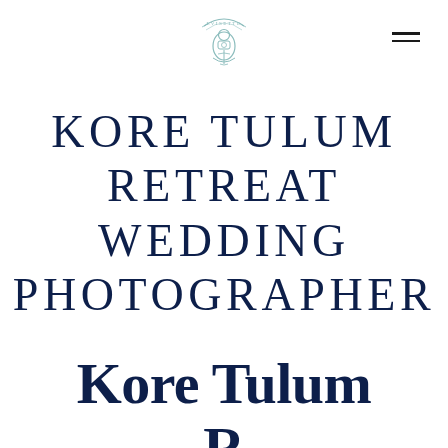[Figure (logo): Lvisette photography logo — a circular emblem with a banner reading 'LVISETTE' in teal/mint, with an illustrated figure below, centered at top of page]
KORE TULUM RETREAT WEDDING PHOTOGRAPHER
Kore Tulum R…